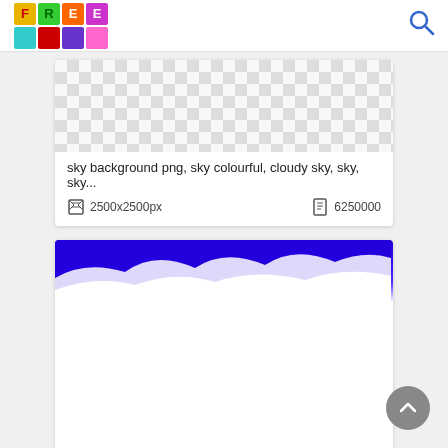FREE logo and search icon
[Figure (screenshot): Image card showing a transparent checkerboard pattern preview for sky background PNG]
sky background png, sky colourful, cloudy sky, sky, sky...
2500x2500px  6250000
[Figure (photo): Blue and white cloudy sky image partially visible, bottom portion is white]